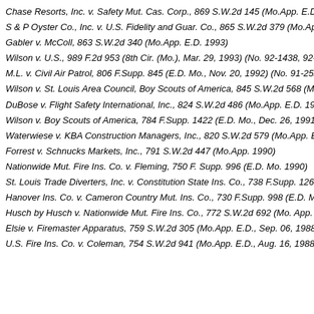Chase Resorts, Inc. v. Safety Mut. Cas. Corp., 869 S.W.2d 145 (Mo.App. E.D. 1993)
S & P Oyster Co., Inc. v. U.S. Fidelity and Guar. Co., 865 S.W.2d 379 (Mo.App. E.D.
Gabler v. McColl, 863 S.W.2d 340 (Mo.App. E.D. 1993)
Wilson v. U.S., 989 F.2d 953 (8th Cir. (Mo.), Mar. 29, 1993) (No. 92-1438, 92-3363)
M.L. v. Civil Air Patrol, 806 F.Supp. 845 (E.D. Mo., Nov. 20, 1992) (No. 91-2524-C (
Wilson v. St. Louis Area Council, Boy Scouts of America, 845 S.W.2d 568 (Mo.App
DuBose v. Flight Safety International, Inc., 824 S.W.2d 486 (Mo.App. E.D. 1992)
Wilson v. Boy Scouts of America, 784 F.Supp. 1422 (E.D. Mo., Dec. 26, 1991) (No.
Waterwiese v. KBA Construction Managers, Inc., 820 S.W.2d 579 (Mo.App. E.D., C
Forrest v. Schnucks Markets, Inc., 791 S.W.2d 447 (Mo.App. 1990)
Nationwide Mut. Fire Ins. Co. v. Fleming, 750 F. Supp. 996 (E.D. Mo. 1990)
St. Louis Trade Diverters, Inc. v. Constitution State Ins. Co., 738 F.Supp. 1269 (E.D.
Hanover Ins. Co. v. Cameron Country Mut. Ins. Co., 730 F.Supp. 998 (E.D. Mo. 1999
Husch by Husch v. Nationwide Mut. Fire Ins. Co., 772 S.W.2d 692 (Mo. App. E.D., A
Elsie v. Firemaster Apparatus, 759 S.W.2d 305 (Mo.App. E.D., Sep. 06, 1988) (No.
U.S. Fire Ins. Co. v. Coleman, 754 S.W.2d 941 (Mo.App. E.D., Aug. 16, 1988) (No.